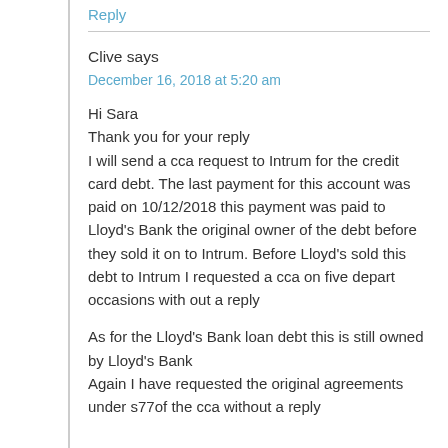Reply
Clive says
December 16, 2018 at 5:20 am
Hi Sara
Thank you for your reply
I will send a cca request to Intrum for the credit card debt. The last payment for this account was paid on 10/12/2018 this payment was paid to Lloyd's Bank the original owner of the debt before they sold it on to Intrum. Before Lloyd's sold this debt to Intrum I requested a cca on five depart occasions with out a reply

As for the Lloyd's Bank loan debt this is still owned by Lloyd's Bank
Again I have requested the original agreements under s77of the cca without a reply